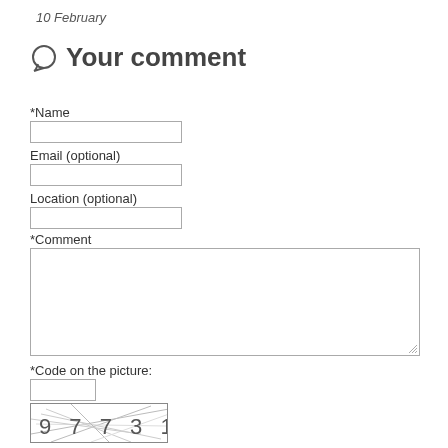10 February
Your comment
*Name
[Figure (other): Text input field for Name]
Email (optional)
[Figure (other): Text input field for Email]
Location (optional)
[Figure (other): Text input field for Location]
*Comment
[Figure (other): Large textarea for Comment]
*Code on the picture:
[Figure (other): Text input field for code]
[Figure (other): CAPTCHA image showing numbers 97731 with noise lines]